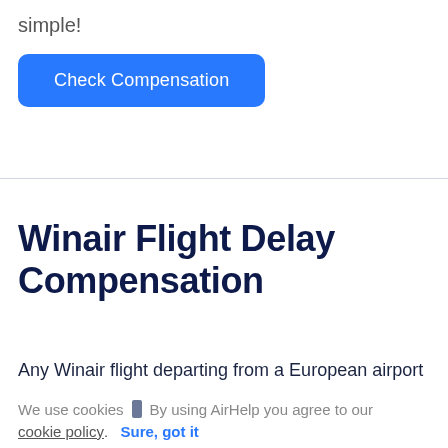simple!
[Figure (other): Blue 'Check Compensation' button]
Winair Flight Delay Compensation
Any Winair flight departing from a European airport
We use cookies ▮ By using AirHelp you agree to our
cookie policy.  Sure, got it